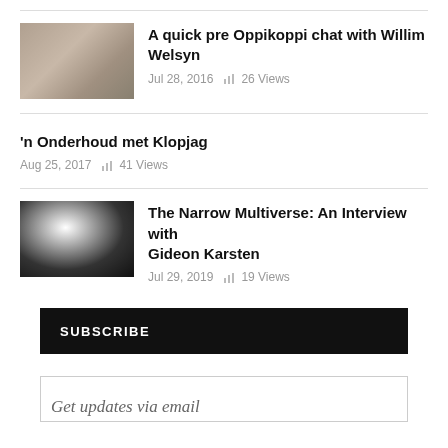[Figure (photo): Thumbnail photo of Willim Welsyn, warm tones]
A quick pre Oppikoppi chat with Willim Welsyn
Jul 28, 2016   26 Views
'n Onderhoud met Klopjag
Aug 25, 2017   41 Views
[Figure (photo): Black and white photo of Gideon Karsten playing harmonica]
The Narrow Multiverse: An Interview with Gideon Karsten
Jul 29, 2019   19 Views
SUBSCRIBE
Get updates via email